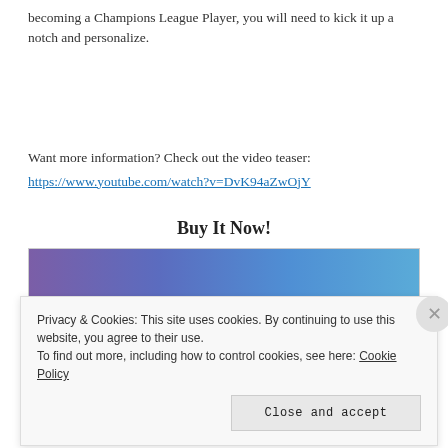becoming a Champions League Player, you will need to kick it up a notch and personalize.
Want more information? Check out the video teaser:
https://www.youtube.com/watch?v=DvK94aZwOjY
Buy It Now!
[Figure (photo): Product image with purple-blue gradient banner and a red/black bottom bar]
Privacy & Cookies: This site uses cookies. By continuing to use this website, you agree to their use.
To find out more, including how to control cookies, see here: Cookie Policy
Close and accept